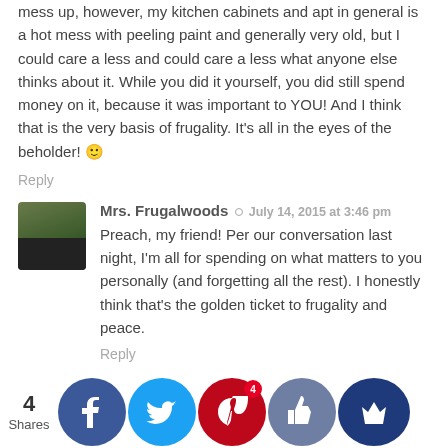mess up, however, my kitchen cabinets and apt in general is a hot mess with peeling paint and generally very old, but I could care a less and could care a less what anyone else thinks about it. While you did it yourself, you did still spend money on it, because it was important to YOU! And I think that is the very basis of frugality. It's all in the eyes of the beholder! 🙂
Reply
Mrs. Frugalwoods ● July 14, 2015 at 3:46 pm
Preach, my friend! Per our conversation last night, I'm all for spending on what matters to you personally (and forgetting all the rest). I honestly think that's the golden ticket to frugality and peace.
Reply
DebtFreeJD ● July 13, 2015 at 9:57 am
It took me a long time to learn that perfection is the enemy of everything . . . and it's a lesson I have to re-teach myself almost every day. Perfectionism is an obstacle to being a good lawyer, a good wife, and being a good mother!
Reply
4 Shares